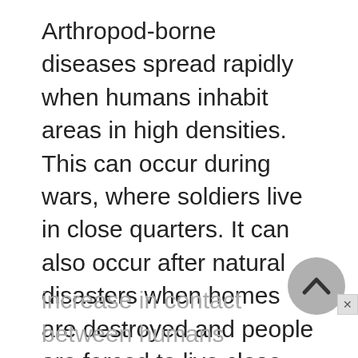Arthropod-borne diseases spread rapidly when humans inhabit areas in high densities. This can occur during wars, where soldiers live in close quarters. It can also occur after natural disasters when homes are destroyed and people are forced to live close together in temporary shelters. It also occurs in poorer countries with large populations. An increase in the density of the human population leads to an increase in contact between humans